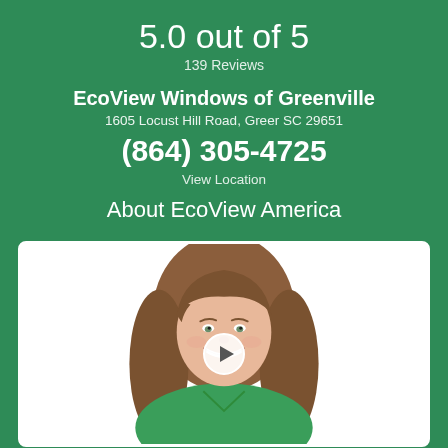5.0 out of 5
139 Reviews
EcoView Windows of Greenville
1605 Locust Hill Road, Greer SC 29651
(864) 305-4725
View Location
About EcoView America
[Figure (photo): Video thumbnail showing a smiling woman with long curly brown hair wearing a green shirt, on a white background, with a play button overlay in the center]